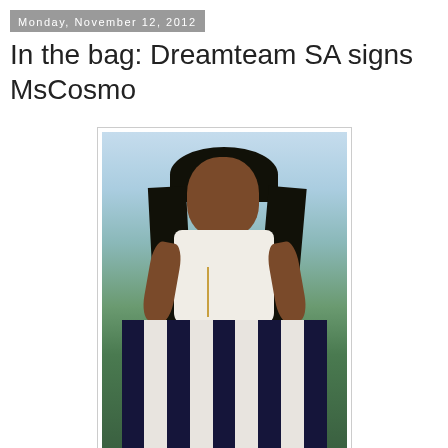Monday, November 12, 2012
In the bag: Dreamteam SA signs MsCosmo
[Figure (photo): Young woman with long dark hair, smiling, wearing a white top and navy blue and white vertical-striped wide skirt, photographed outdoors on an elevated viewpoint with green landscape and sky in the background.]